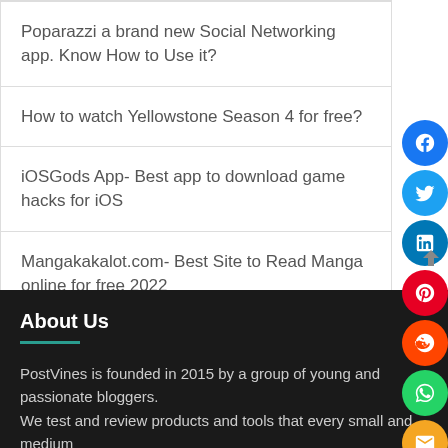Poparazzi a brand new Social Networking app. Know How to Use it?
How to watch Yellowstone Season 4 for free?
iOSGods App- Best app to download game hacks for iOS
Mangakakalot.com- Best Site to Read Manga online for free 2022
About Us
PostVines is founded in 2015 by a group of young and passionate bloggers.
We test and review products and tools that every small and medium